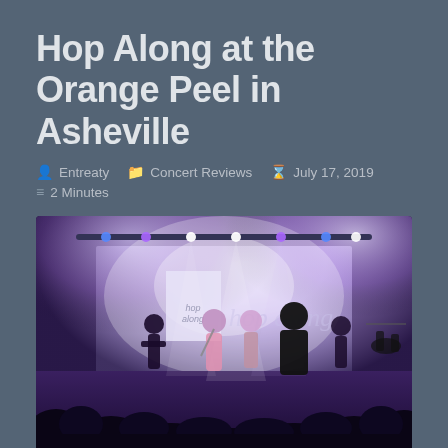Hop Along at the Orange Peel in Asheville
Entreaty   Concert Reviews   July 17, 2019
2 Minutes
[Figure (photo): Concert photo of Hop Along performing on stage at the Orange Peel in Asheville. The stage is lit with purple and white lights. Multiple band members are visible including a singer with a microphone and a guitarist. A 'hop along' banner/backdrop is visible on the back of the stage. The audience is visible in the foreground as dark silhouettes.]